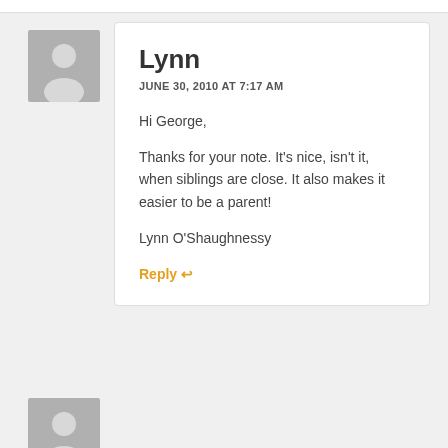Lynn
JUNE 30, 2010 AT 7:17 AM
Hi George,

Thanks for your note. It's nice, isn't it, when siblings are close. It also makes it easier to be a parent!

Lynn O'Shaughnessy
Reply ↩